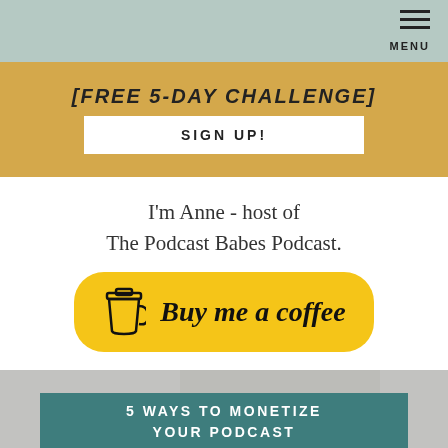MENU
[FREE 5-DAY CHALLENGE]
SIGN UP!
I'm Anne - host of The Podcast Babes Podcast.
[Figure (illustration): Yellow rounded button with coffee cup icon and text 'Buy me a coffee']
[Figure (photo): Photo of a person wearing a watch with a teal overlay banner reading '5 WAYS TO MONETIZE YOUR PODCAST FREE EBOOK']